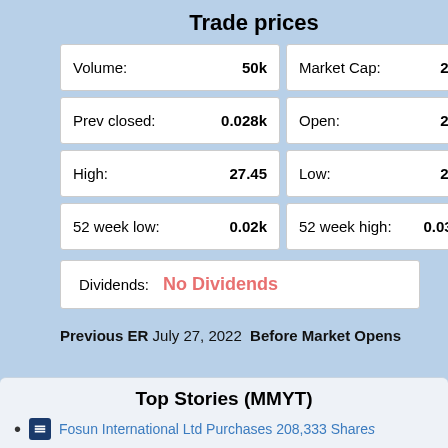Trade prices
| Label | Value | Label | Value |
| --- | --- | --- | --- |
| Volume: | 50k | Market Cap: | 2.7... |
| Prev closed: | 0.028k | Open: | 27.... |
| High: | 27.45 | Low: | 26.... |
| 52 week low: | 0.02k | 52 week high: | 0.035... |
Dividends:  No Dividends
Previous ER July 27, 2022  Before Market Opens
Top Stories (MMYT)
Fosun International Ltd Purchases 208,333 Shares...